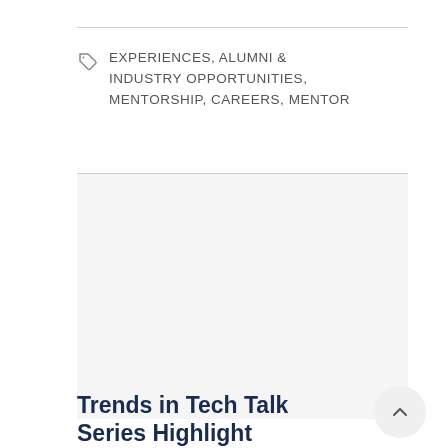EXPERIENCES, ALUMNI & INDUSTRY OPPORTUNITIES, MENTORSHIP, CAREERS, MENTOR
[Figure (photo): A large image placeholder area (white/light gray) representing a photo related to the Trends in Tech Talk Series article.]
Trends in Tech Talk Series Highlight